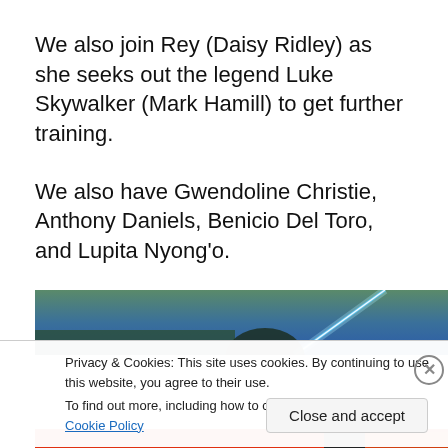We also join Rey (Daisy Ridley) as she seeks out the legend Luke Skywalker (Mark Hamill) to get further training.
We also have Gwendoline Christie, Anthony Daniels, Benicio Del Toro, and Lupita Nyong'o.
[Figure (photo): Partial image of a Star Wars scene with a blue lightsaber against a blue sky background]
Privacy & Cookies: This site uses cookies. By continuing to use this website, you agree to their use. To find out more, including how to control cookies, see here: Cookie Policy